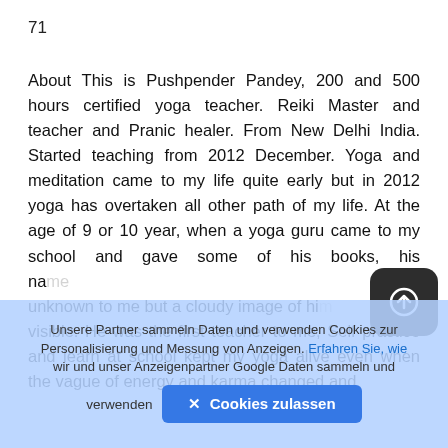71
About This is Pushpender Pandey, 200 and 500 hours certified yoga teacher. Reiki Master and teacher and Pranic healer. From New Delhi India. Started teaching from 2012 December. Yoga and meditation came to my life quite early but in 2012 yoga has overtaken all other path of my life. At the age of 9 or 10 year, when a yoga guru came to my school and gave some of his books, his na[me is] unknown to me but a cloudy image of hi[m is] visible. He was the first teacher to me, Self practice and learn at school kept my yoga alive even when the vague of energy and karma changed and
[Figure (other): Dark rounded square button with a circular arrow/upload icon (white on dark background)]
Unsere Partner sammeln Daten und verwenden Cookies zur Personalisierung und Messung von Anzeigen. Erfahren Sie, wie wir und unser Anzeigenpartner Google Daten sammeln und verwenden  ✕ Cookies zulassen